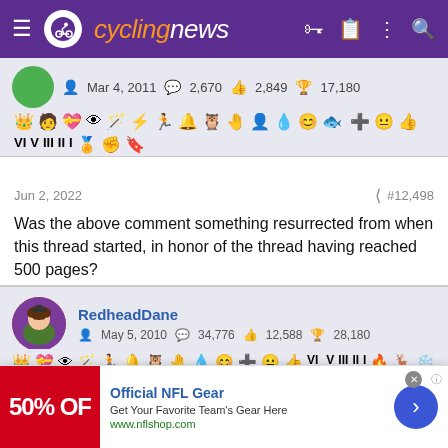[Figure (screenshot): Cyclingnews website header bar with purple background, hamburger menu, cycling logo with cyclist icon, orange and white 'cyclingnews' text, and icons for key, clipboard, dots, and search on right]
Mar 4, 2011  2,670  2,849  17,180
[Figure (other): Row of forum achievement badges/icons including crown, person, heart, eye, wand, lightning, figure, bell, owl, hand, person, blob, emoji, fish/arrow icons; second row: plus, face, thumbs up, VI, V, III, II, I, figures, fist, bookmark icons]
Jun 2, 2022
#12,498
Was the above comment something resurrected from when this thread started, in honor of the thread having reached 500 pages?
[Figure (photo): User avatar: cartoon character (South Park style) with graduation cap on colorful background]
RedheadDane
May 5, 2010  34,776  12,588  28,180
[Figure (other): Row of forum achievement badges/icons: crown, heart, eye, wand, runner, bell, owl, hand, blob, emoji, plus, face, thumbs up, VI; second row: V, III, II, I, fire, deer, snowflake, palm, person, lightning, mountain]
[Figure (other): Advertisement banner: Official NFL Gear - Get Your Favorite Team's Gear Here - www.nflshop.com with red image showing '50% OFF' on left and blue arrow button on right]